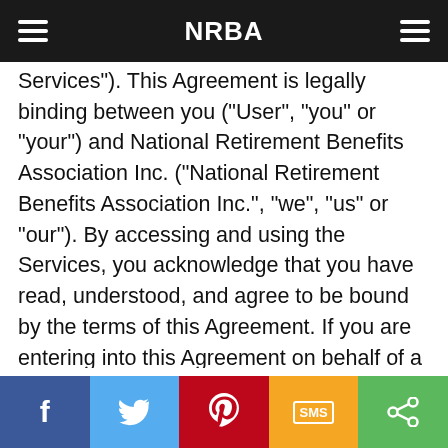NRBA
Services"). This Agreement is legally binding between you ("User", "you" or "your") and National Retirement Benefits Association Inc. ("National Retirement Benefits Association Inc.", "we", "us" or "our"). By accessing and using the Services, you acknowledge that you have read, understood, and agree to be bound by the terms of this Agreement. If you are entering into this Agreement on behalf of a business or other legal entity, you represent that you have the authority to bind such entity to this Agreement, in which case the terms "User", "you" or "your" shall refer to such entity. If you do not have such authority, or if you do not agree with the terms of this Agreement, you must not accept this Agreement and may not access and use the Services. You acknowledge that this Agreement is a contract between you and National Retirement